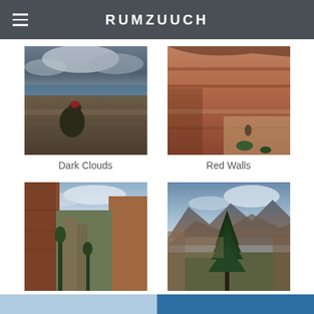RUMZUUCH
[Figure (photo): Person sitting on canyon rim overlooking Grand Canyon with dark dramatic clouds and blue water/sky in background]
Dark Clouds
[Figure (photo): Close-up of red sandstone canyon walls with layered rock textures and sparse vegetation]
Red Walls
[Figure (photo): Narrow canyon trail view with tall red rock cliffs and cloudy sky, looking into a valley]
A Narrow Path
[Figure (photo): Afternoon light on canyon mountains with a tall pine tree in foreground and rocky peaks in background]
Afternoon Light